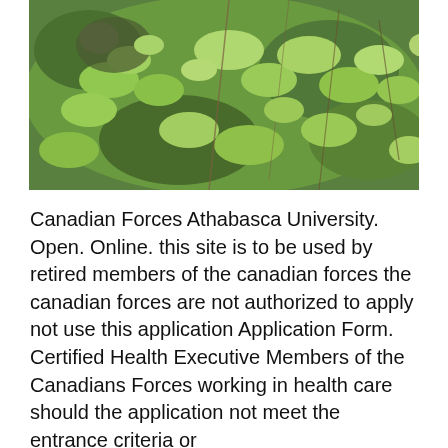[Figure (photo): Photograph of a soldier camouflaged among dense green foliage and shrubs outdoors]
Canadian Forces Athabasca University. Open. Online. this site is to be used by retired members of the canadian forces the canadian forces are not authorized to apply not use this application Application Form. Certified Health Executive Members of the Canadians Forces working in health care should the application not meet the entrance criteria or